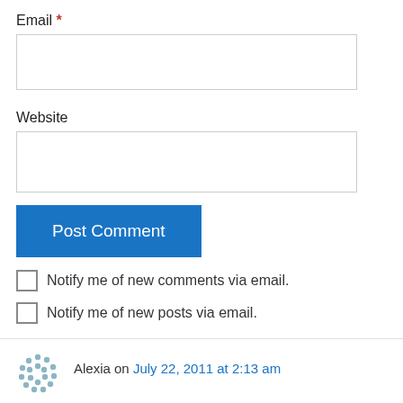Email *
Website
Post Comment
Notify me of new comments via email.
Notify me of new posts via email.
Alexia on July 22, 2011 at 2:13 am
Well, I don't agree that everything in a story